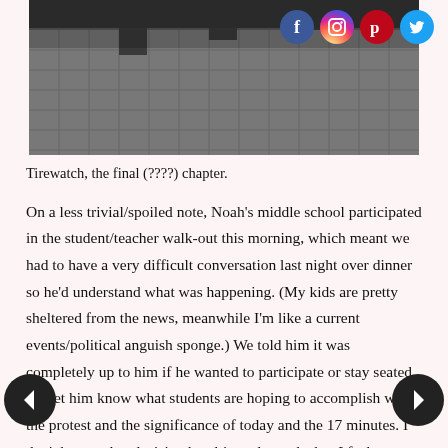[Figure (photo): Photo of a tiled outdoor floor/courtyard with pillars visible, viewed from above. Dark gray stone/brick tiles.]
Tirewatch, the final (????) chapter.
On a less trivial/spoiled note, Noah's middle school participated in the student/teacher walk-out this morning, which meant we had to have a very difficult conversation last night over dinner so he'd understand what was happening. (My kids are pretty sheltered from the news, meanwhile I'm like a current events/political anguish sponge.) We told him it was completely up to him if he wanted to participate or stay seated, but let him know what students are hoping to accomplish with the protest and the significance of today and the 17 minutes. I don't know what decision he ultimately made, but I feel very very grateful that